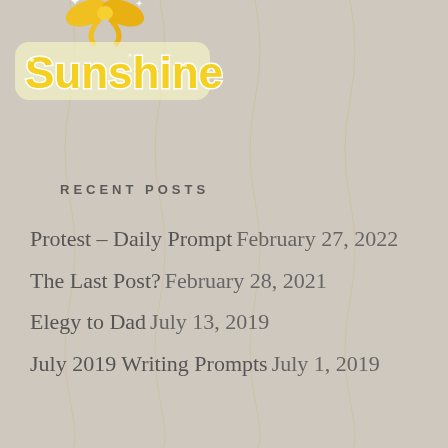[Figure (illustration): Rose floral pattern background with pink roses and teal leaves on a light grey-beige background]
[Figure (logo): Sunshine blog logo with yellow sparkly text and a yellow bow on top, on a light background with pink roses]
RECENT POSTS
Protest – Daily Prompt February 27, 2022
The Last Post? February 28, 2021
Elegy to Dad July 13, 2019
July 2019 Writing Prompts July 1, 2019